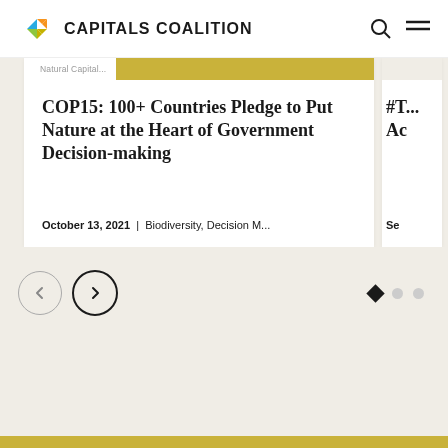CAPITALS COALITION
Natural Capital...
COP15: 100+ Countries Pledge to Put Nature at the Heart of Government Decision-making
October 13, 2021 | Biodiversity, Decision M...
#T... Ac... Se...